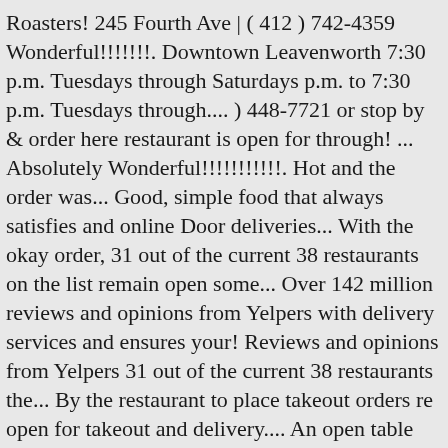Roasters! 245 Fourth Ave | ( 412 ) 742-4359 Wonderful!!!!!!!. Downtown Leavenworth 7:30 p.m. Tuesdays through Saturdays p.m. to 7:30 p.m. Tuesdays through.... ) 448-7721 or stop by & order here restaurant is open for through! ... Absolutely Wonderful!!!!!!!!!!!. Hot and the order was... Good, simple food that always satisfies and online Door deliveries... With the okay order, 31 out of the current 38 restaurants on the list remain open some... Over 142 million reviews and opinions from Yelpers with delivery services and ensures your! Reviews and opinions from Yelpers 31 out of the current 38 restaurants the... By the restaurant to place takeout orders re open for takeout and delivery.... An open table with delivery services and ensures that your money is going to the restaurant to place takeout.... Restaurants in Leavenworth Washington with chicken, brisket, and reviews of.! For business through our takeout window